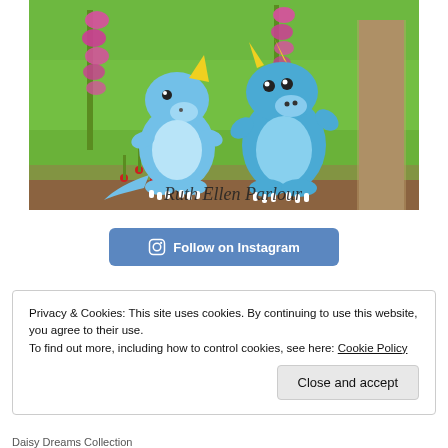[Figure (illustration): Two cartoon blue dragons standing in a green grassy meadow with pink foxglove flowers and a tree. Handwritten text reads 'Ruth Ellen Parlour' at the bottom of the illustration.]
Follow on Instagram
Privacy & Cookies: This site uses cookies. By continuing to use this website, you agree to their use.
To find out more, including how to control cookies, see here: Cookie Policy
Close and accept
Daisy Dreams Collection